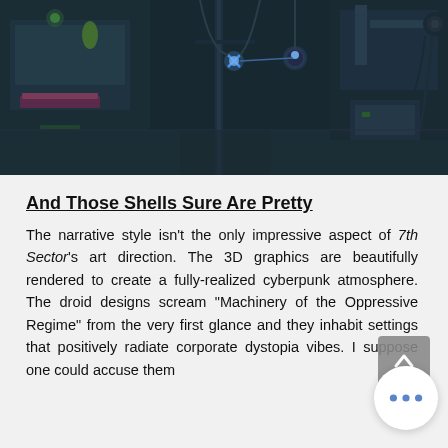[Figure (screenshot): A dark cyberpunk 3D rendered scene showing mechanical/industrial environment with blue glowing lights, cables, robotic equipment on a dark teal background]
And Those Shells Sure Are Pretty
The narrative style isn't the only impressive aspect of 7th Sector's art direction. The 3D graphics are beautifully rendered to create a fully-realized cyberpunk atmosphere. The droid designs scream “Machinery of the Oppressive Regime” from the very first glance and they inhabit settings that positively radiate corporate dys[topia] vibes. I suppose one could accuse them